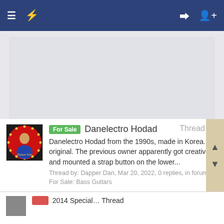Navigation bar with menu, lightning bolt icon, login and register icons
[Figure (other): Advertisement placeholder area, light gray background]
[Figure (photo): Round red logo with gold border dots and a man's portrait, labeled Dapper Dan]
For Sale  Danelectro Hodad  Thread
Danelectro Hodad from the 1990s, made in Korea. All original. The previous owner apparently got creative and mounted a strap button on the lower...
Thread by: Dapper Dan, Mar 20, 2022, 0 replies, in forum: For Sale: Bass Guitars